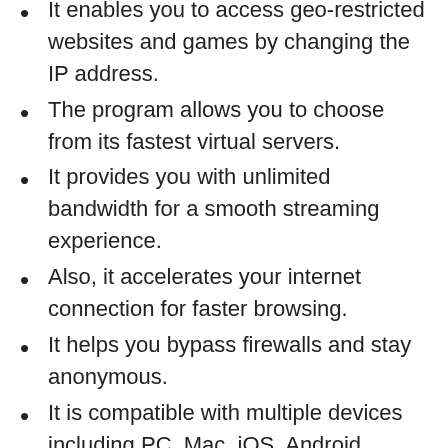It enables you to access geo-restricted websites and games by changing the IP address.
The program allows you to choose from its fastest virtual servers.
It provides you with unlimited bandwidth for a smooth streaming experience.
Also, it accelerates your internet connection for faster browsing.
It helps you bypass firewalls and stay anonymous.
It is compatible with multiple devices including PC, Mac, iOS, Android, Linux, and more.
This VPN tool is available to add to all popular browsers.
The program offers a Smart DNS Proxy service